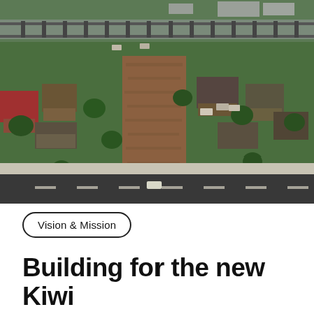[Figure (photo): Aerial/overhead view of a suburban New Zealand residential neighbourhood showing houses with dark roofs surrounded by green lawns and trees, a vacant brown dirt plot in the centre, roads, parked cars, and a railway line running diagonally in the background.]
Vision & Mission
Building for the new Kiwi dream.